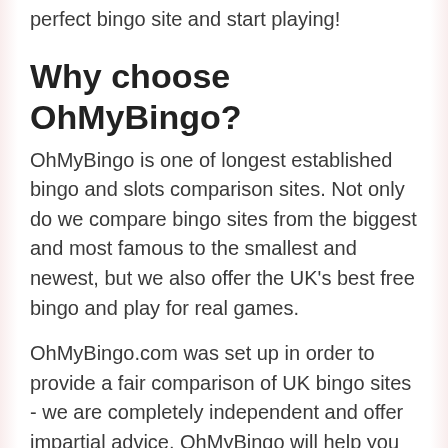perfect bingo site and start playing!
Why choose OhMyBingo?
OhMyBingo is one of longest established bingo and slots comparison sites. Not only do we compare bingo sites from the biggest and most famous to the smallest and newest, but we also offer the UK's best free bingo and play for real games.
OhMyBingo.com was set up in order to provide a fair comparison of UK bingo sites - we are completely independent and offer impartial advice. OhMyBingo will help you select the right UK bingo site for you - whether you're after free bingo, big deposit bonuses or large jackpots.
We sign up to, play and review every UK bingo website and so you can be sure we know what we're talking